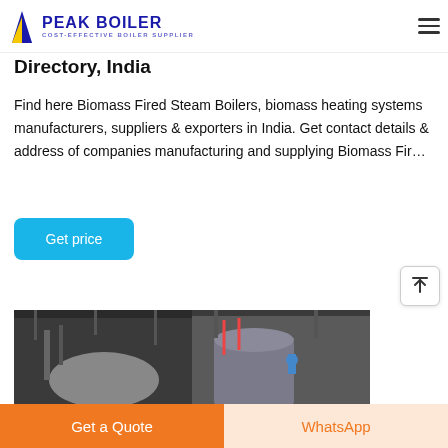PEAK BOILER - COST-EFFECTIVE BOILER SUPPLIER
Directory, India
Find here Biomass Fired Steam Boilers, biomass heating systems manufacturers, suppliers & exporters in India. Get contact details & address of companies manufacturing and supplying Biomass Fir...
Get price
[Figure (photo): Industrial boiler equipment photographed in a factory setting, showing two boiler units side by side with piping and components visible]
Get a Quote
WhatsApp